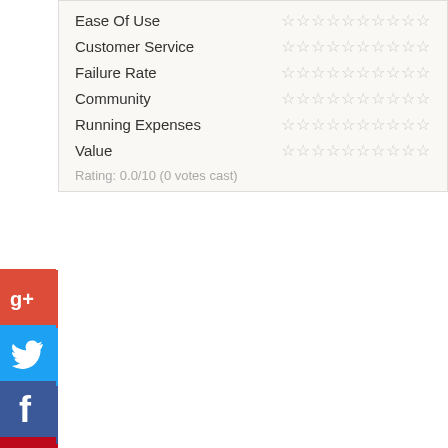| Category | Rating |
| --- | --- |
| Ease Of Use | ☆☆☆☆☆☆☆☆☆☆ |
| Customer Service | ☆☆☆☆☆☆☆☆☆☆ |
| Failure Rate | ☆☆☆☆☆☆☆☆☆☆ |
| Community | ☆☆☆☆☆☆☆☆☆☆ |
| Running Expenses | ☆☆☆☆☆☆☆☆☆☆ |
| Value | ☆☆☆☆☆☆☆☆☆☆ |
Rating: 0.0/10 (0 votes cast)
3D Printer Price
$3975.00
[Figure (logo): Amazon logo with orange smile arrow]
$3975.00
[Figure (logo): Fusion3 logo — white text on black background with orange 3]